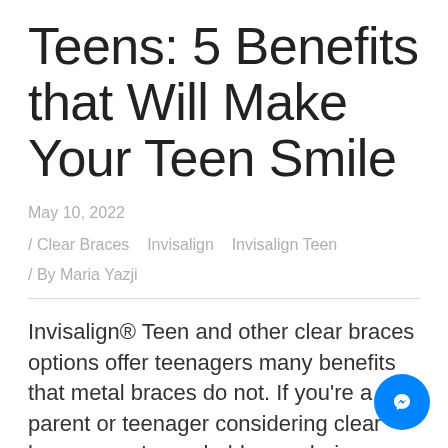Teens: 5 Benefits that Will Make Your Teen Smile
May 10, 2022
/ Clear Braces   Invisalign   Invisalign Teen
/ By Maria Yazji
Invisalign® Teen and other clear braces options offer teenagers many benefits that metal braces do not. If you're a parent or teenager considering clear braces, you're probably wondering about the benefits. Le more about Clear Braces in Miami